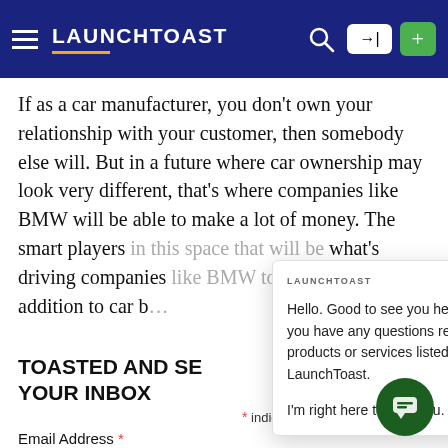LAUNCHTOAST
If as a car manufacturer, you don't own your relationship with your customer, then somebody else will. But in a future where car ownership may look very different, that's where companies like BMW will be able to make a lot of money. The smart players in this space that will be what's driving companies like BMW to open coffee shops in addition to car b…
[Figure (screenshot): Chat popup overlay with LAUNCHTOAST logo header and close X button. Message reads: Hello. Good to see you here. If you have any questions related to products or services listed on LaunchToast. I'm right here to help you.]
TOASTED AND SE… YOUR INBOX
* indicates required
Email Address *
[Figure (other): Dark green circular chat button icon at bottom right]